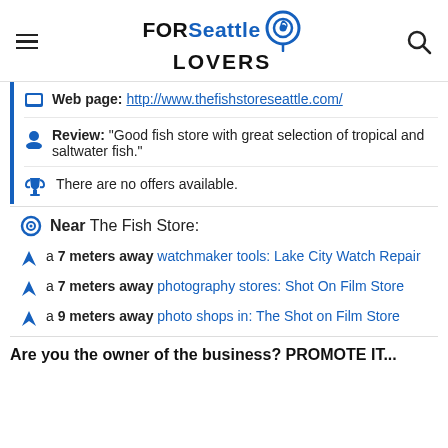FORSeattle LOVERS
Web page: http://www.thefishstoreseattle.com/
Review: "Good fish store with great selection of tropical and saltwater fish."
There are no offers available.
Near The Fish Store:
a 7 meters away watchmaker tools: Lake City Watch Repair
a 7 meters away photography stores: Shot On Film Store
a 9 meters away photo shops in: The Shot on Film Store
Are you the owner of the business? PROMOTE IT...